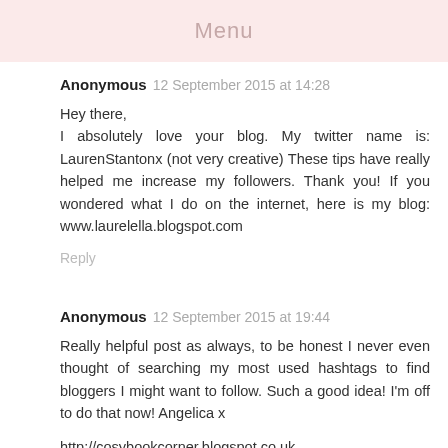Menu
Anonymous 12 September 2015 at 14:28
Hey there,
I absolutely love your blog. My twitter name is: LaurenStantonx (not very creative) These tips have really helped me increase my followers. Thank you! If you wondered what I do on the internet, here is my blog: www.laurelella.blogspot.com
Reply
Anonymous 12 September 2015 at 19:44
Really helpful post as always, to be honest I never even thought of searching my most used hashtags to find bloggers I might want to follow. Such a good idea! I'm off to do that now! Angelica x
http://cosybookcorner.blogspot.co.uk
Reply